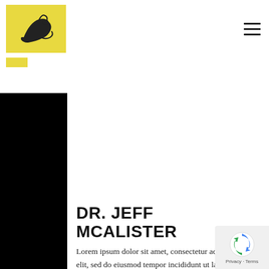[Figure (logo): Yellow foot/ankle anatomy logo with dark bone illustration on yellow background, with a yellow tab below]
[Figure (photo): Person wearing a white button-up shirt and blue denim jacket, partial torso view]
DR. JEFF MCALISTER
Lorem ipsum dolor sit amet, consectetur adipiscing elit, sed do eiusmod tempor incididunt ut labore et dolore magna aliqua. Ut enim ad minim veniam, quis nostrud exercitation ullamco laboris nisi ut